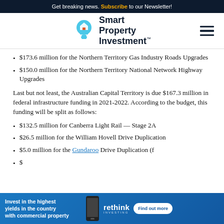Get breaking news. Subscribe to our Newsletter!
[Figure (logo): Smart Property Investment logo with light bulb icon]
$173.6 million for the Northern Territory Gas Industry Roads Upgrades
$150.0 million for the Northern Territory National Network Highway Upgrades
Last but not least, the Australian Capital Territory is due $167.3 million in federal infrastructure funding in 2021-2022. According to the budget, this funding will be split as follows:
$132.5 million for Canberra Light Rail — Stage 2A
$26.5 million for the William Hovell Drive Duplication
$5.0 million for the Gundaroo Drive Duplication (f...
$...
[Figure (infographic): Advertisement banner: Invest in the highest yields in the country with commercial property — rethink — Find out more]